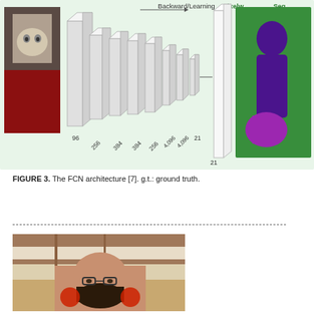[Figure (schematic): FCN architecture diagram showing input image (cat photo), convolutional layers labeled 96, 256, 384, 384, 256, 4096, 4096, 21, with Backward/Learning arrow, then Pixelwise output and Segmentation result with silhouette image. Label 21 shown at bottom right.]
FIGURE 3. The FCN architecture [7]. g.t.: ground truth.
[Figure (photo): Portrait photo of a bearded man wearing glasses, seated in front of shelves stacked with papers and files.]